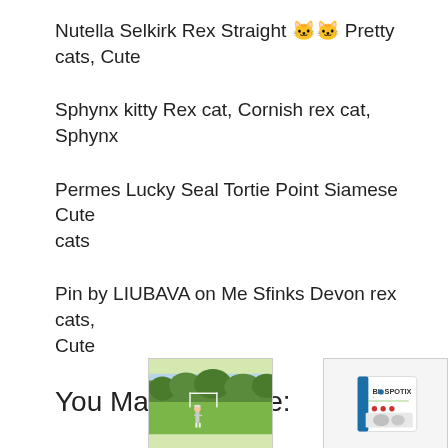Nutella Selkirk Rex Straight 🐱🐱 Pretty cats, Cute
Sphynx kitty Rex cat, Cornish rex cat, Sphynx
Permes Lucky Seal Tortie Point Siamese Cute cats
Pin by LIUBAVA on Me Sfinks Devon rex cats, Cute
You May Also Like:
[Figure (photo): Person on a soccer field with goal in background, green trees]
[Figure (photo): BIOSPOTIX product package with cat/dog imagery]